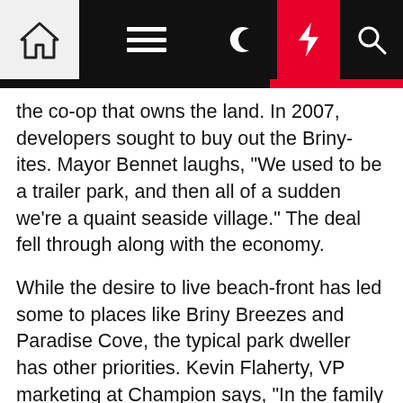[Navigation bar with home, menu, moon, flash, and search icons]
the co-op that owns the land. In 2007, developers sought to buy out the Briny-ites. Mayor Bennet laughs, "We used to be a trailer park, and then all of a sudden we're a quaint seaside village." The deal fell through along with the economy.
While the desire to live beach-front has led some to places like Briny Breezes and Paradise Cove, the typical park dweller has other priorities. Kevin Flaherty, VP marketing at Champion says, "In the family communities, people are looking for an affordable home with security. In the adult community, they are often driven by a desire to minimize their housing investment so they can protect their savings." Flaherty adds, "Buyers appreciate that they can purchase just the home and not have to liquidate as much money, since they